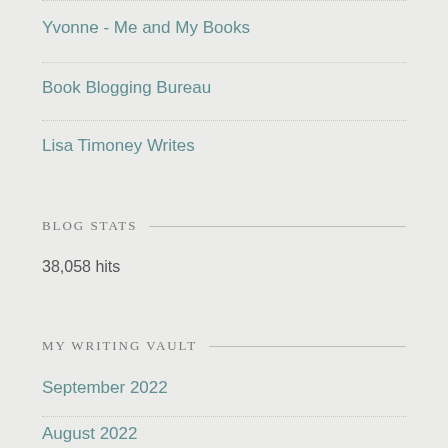Yvonne - Me and My Books
Book Blogging Bureau
Lisa Timoney Writes
BLOG STATS
38,058 hits
MY WRITING VAULT
September 2022
August 2022
July 2022